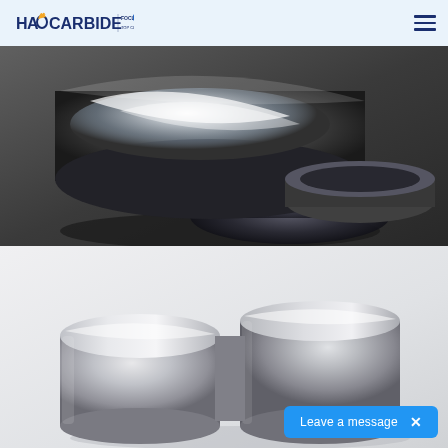HAO CARBIDE | FOCUS ON [pill] TOP CLASS TUNGSTEN CARBIDES
[Figure (photo): Close-up product photo of tungsten carbide cylindrical cups/bushings on a dark gray background. Two hollow cylindrical pieces are shown, one tilted to reveal the polished interior, with reflective metallic surfaces.]
[Figure (photo): Product photo of tungsten carbide cylindrical cups/bushings on a light gray/white background. Two solid cylindrical pieces shown side by side with brushed metallic finish, reflecting light from the top.]
Leave a message  ×